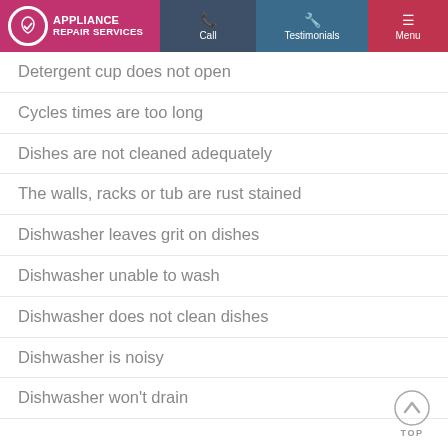Appliance Repair Services | Call | Testimonials | Menu
Detergent cup does not open
Cycles times are too long
Dishes are not cleaned adequately
The walls, racks or tub are rust stained
Dishwasher leaves grit on dishes
Dishwasher unable to wash
Dishwasher does not clean dishes
Dishwasher is noisy
Dishwasher won't drain